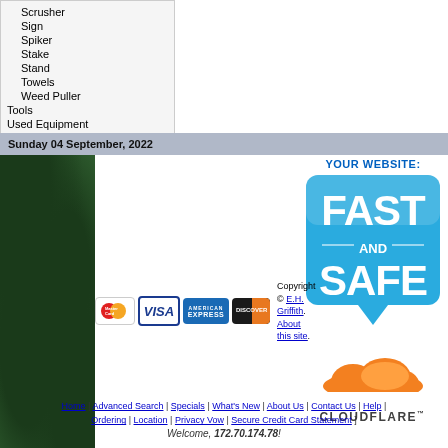Scrusher
Sign
Spiker
Stake
Stand
Towels
Weed Puller
Tools
Used Equipment
Work Order
Sunday 04 September, 2022
[Figure (logo): YOUR WEBSITE: FAST AND SAFE badge in blue]
[Figure (logo): Cloudflare logo with orange cloud icon]
[Figure (logo): Payment icons: MasterCard, Visa, American Express, Discover]
Copyright © E.H. Griffith. About this site.
Home | Advanced Search | Specials | What's New | About Us | Contact Us | Help | Ordering | Location | Privacy Vow | Secure Credit Card Statement ]
Welcome, 172.70.174.78!